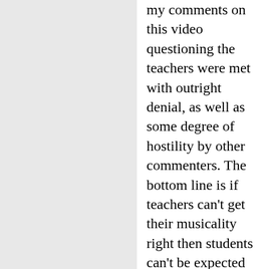my comments on this video questioning the teachers were met with outright denial, as well as some degree of hostility by other commenters. The bottom line is if teachers can't get their musicality right then students can't be expected to either. Sadly this style has become so accepted as a standard at teaching events around the world that this mis-taught musicality just gets spread further and further. I would never take or suggest others ever take a class in Eddie Torres New York style